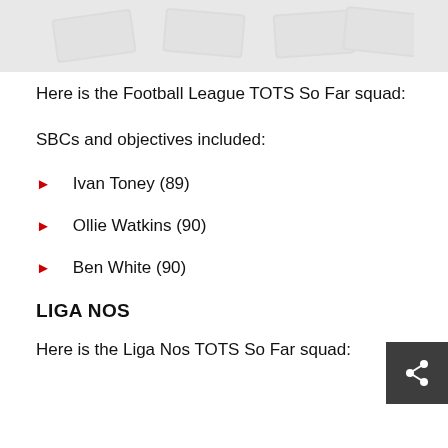[Figure (photo): Top banner image showing money/cash bills in a grey-toned decorative style]
Here is the Football League TOTS So Far squad:
SBCs and objectives included:
Ivan Toney (89)
Ollie Watkins (90)
Ben White (90)
LIGA NOS
Here is the Liga Nos TOTS So Far squad: